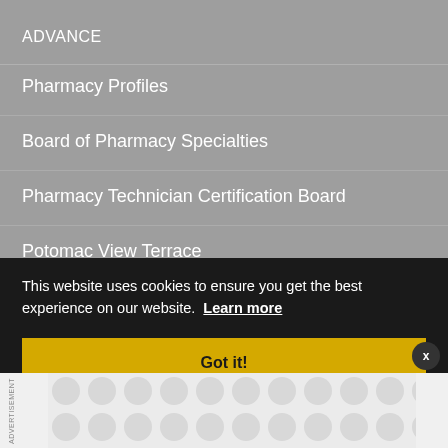ADVANCE
Pharmacy Profiles
Board of Pharmacy Specialties
Pharmacy Technician Certification Board
Potomac View Terrace
This website uses cookies to ensure you get the best experience on our website. Learn more
Got it!
American Pharmacists Association
2215 Constitution Avenue NW
Washington